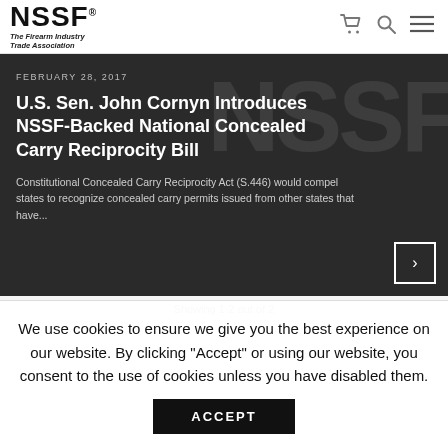NSSF® The Firearm Industry Trade Association
FEBRUARY 28, 2017
U.S. Sen. John Cornyn Introduces NSSF-Backed National Concealed Carry Reciprocity Bill
Constitutional Concealed Carry Reciprocity Act (S.446) would compel states to recognize concealed carry permits issued from other states that have...
Showing 1-2 out of 2
We use cookies to ensure we give you the best experience on our website. By clicking "Accept" or using our website, you consent to the use of cookies unless you have disabled them.
ACCEPT